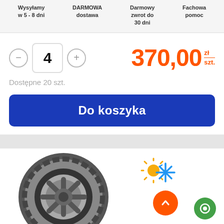Wysyłamy w 5 - 8 dni
DARMOWA dostawa
Darmowy zwrot do 30 dni
Fachowa pomoc
4
370,00 zł/szt.
Dostępne 20 szt.
Do koszyka
[Figure (photo): Tire product image with all-season weather icon (sun and snowflake), scroll-to-top orange button, and green chat button in bottom right corner]